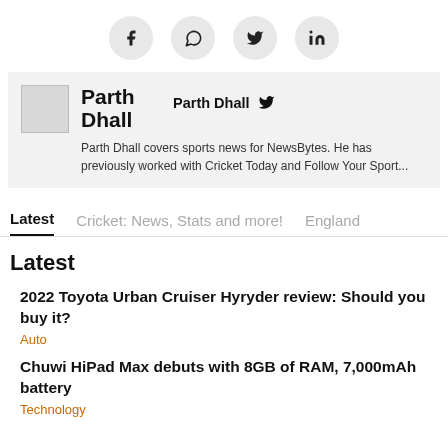[Figure (other): Social sharing icons: Facebook, WhatsApp, Twitter, LinkedIn in grey circles]
Parth Dhall
Parth Dhall covers sports news for NewsBytes. He has previously worked with Cricket Today and Follow Your Sport...
Latest | Cricket: News, Stats and more! | England
Latest
2022 Toyota Urban Cruiser Hyryder review: Should you buy it?
Auto
Chuwi HiPad Max debuts with 8GB of RAM, 7,000mAh battery
Technology